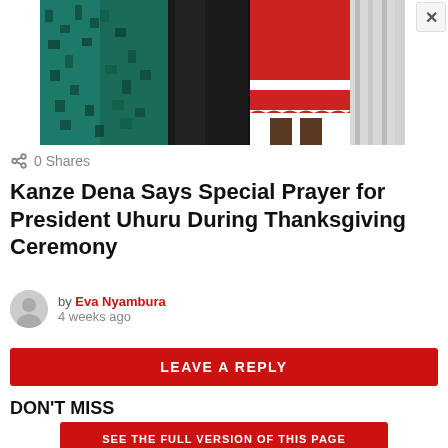[Figure (photo): Cropped photo showing people in colorful outfits — teal/green patterned dress on left, black pants in center, red and white scalloped skirt on right, with white curtain background. A close button (×) appears at top right.]
0 Shares
Kanze Dena Says Special Prayer for President Uhuru During Thanksgiving Ceremony
by Eva Nyambura
4 weeks ago
LEAVE A REPLY
DON'T MISS
SEE THE FULL VERSION OF THIS PAGE